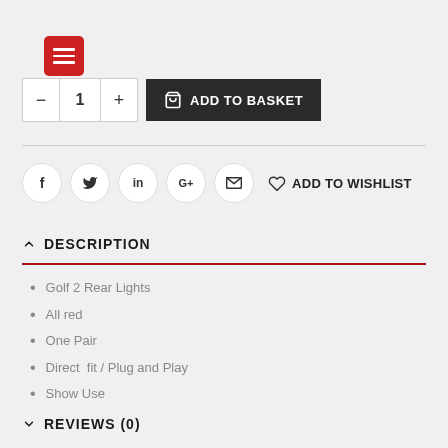[Figure (screenshot): Red hamburger menu button icon]
— 1 + ADD TO BASKET
f  twitter  in  G+  email  ADD TO WISHLIST
DESCRIPTION
Golf 2 Rear Lights
All red
One Pair
Direct  fit / Plug and Play
Show Use
REVIEWS (0)